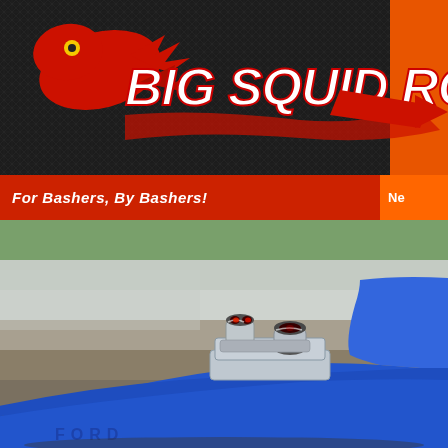[Figure (logo): Big Squid RC logo on carbon fiber background — red squid mascot with yellow eye on left, large stylized white italic text 'BIG SQUID RC' with red flame/arrow graphic]
For Bashers, By Bashers!   N…
[Figure (photo): Close-up photo of a blue RC car (Ford) with chrome exhaust/engine detail mounted on the hood, red accent lights, blurred outdoor background with green and brown tones]